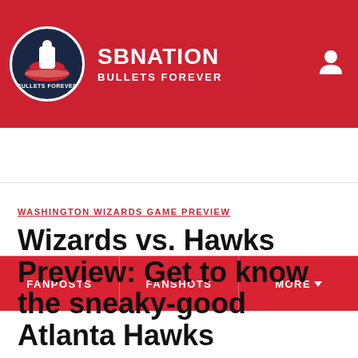SB NATION | BULLETS FOREVER
WASHINGTON WIZARDS GAME PREVIEW
Wizards vs. Hawks Preview: Get to know the sneaky-good Atlanta Hawks
If the Wizards want to get a win before Thanksgiving, they'll need to get through Lou Williams and the Hawks to do it.
By Jake Whitacre | @jakewhitacre | Nov 21, 2012, 1:00pm EST